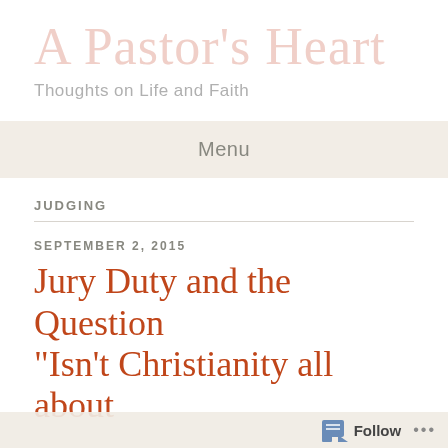A Pastor's Heart
Thoughts on Life and Faith
Menu
JUDGING
SEPTEMBER 2, 2015
Jury Duty and the Question “Isn’t Christianity all about
Follow ...